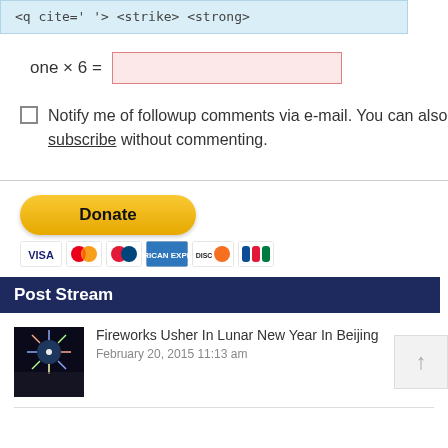<q cite=> <strike> <strong>
one × 6 =
Notify me of followup comments via e-mail. You can also subscribe without commenting.
[Figure (other): PayPal Donate button with payment card icons (Visa, Mastercard, and others)]
Post Stream
Fireworks Usher In Lunar New Year In Beijing
February 20, 2015 11:13 am